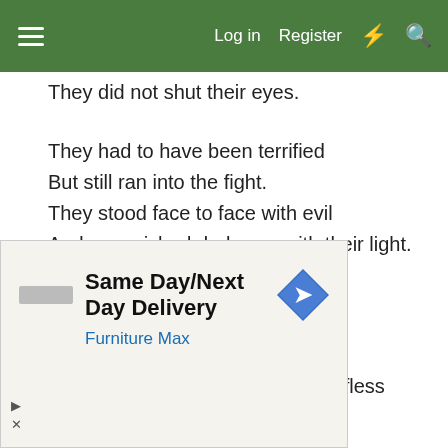Log in   Register
They did not shut their eyes.
They had to have been terrified
But still ran into the fight.
They stood face to face with evil
And vanquished darkness with their light.
How can we ever quantify
What we owe to each of them?
How is it possible to honor
And revere, such magnificent, selfless men?
We live with all our blessings.
[Figure (screenshot): Advertisement banner: Same Day/Next Day Delivery - Furniture Max, with navigation arrow icon and a logo placeholder]